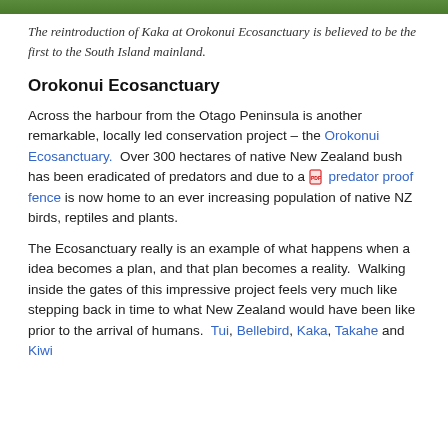[Figure (photo): Top portion of a photo showing green foliage/trees, cropped at the top of the page]
The reintroduction of Kaka at Orokonui Ecosanctuary is believed to be the first to the South Island mainland.
Orokonui Ecosanctuary
Across the harbour from the Otago Peninsula is another remarkable, locally led conservation project – the Orokonui Ecosanctuary.  Over 300 hectares of native New Zealand bush has been eradicated of predators and due to a predator proof fence is now home to an ever increasing population of native NZ birds, reptiles and plants.
The Ecosanctuary really is an example of what happens when a idea becomes a plan, and that plan becomes a reality.  Walking inside the gates of this impressive project feels very much like stepping back in time to what New Zealand would have been like prior to the arrival of humans.  Tui, Bellebird, Kaka, Takahe and Kiwi